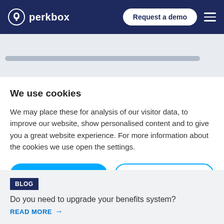perkbox — Request a demo
We use cookies
We may place these for analysis of our visitor data, to improve our website, show personalised content and to give you a great website experience. For more information about the cookies we use open the settings.
ACCEPT ALL | Manage
BLOG
Do you need to upgrade your benefits system?
READ MORE →